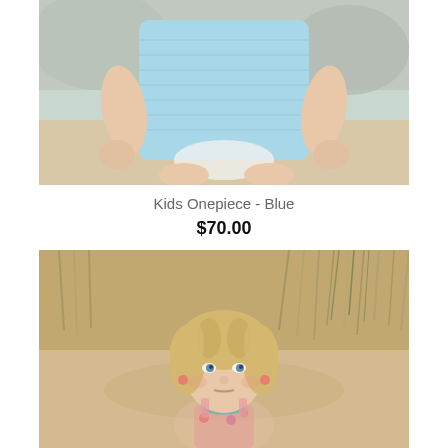[Figure (photo): Close-up photo of a child wearing a light blue ribbed knit onepiece swimsuit, standing on a beach with rocks in background. Only the torso and hands are visible.]
Kids Onepiece - Blue
$70.00
[Figure (photo): Photo of a young toddler girl with blonde hair, blue eyes, wearing a colorful beaded necklace and floral swimsuit top, sitting on sand with dry beach grass in the background.]